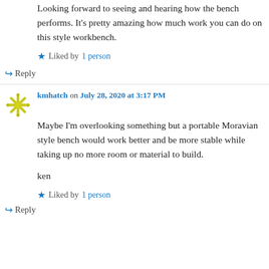Looking forward to seeing and hearing how the bench performs. It's pretty amazing how much work you can do on this style workbench.
Liked by 1 person
↪ Reply
kmhatch on July 28, 2020 at 3:17 PM
Maybe I'm overlooking something but a portable Moravian style bench would work better and be more stable while taking up no more room or material to build.

ken
Liked by 1 person
↪ Reply